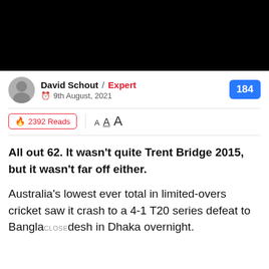[Figure (photo): Black hero image at top of article page]
David Schout / Expert
9th August, 2021
184 comments
🔥 2392 Reads  A  A  A
All out 62. It wasn't quite Trent Bridge 2015, but it wasn't far off either.
Australia's lowest ever total in limited-overs cricket saw it crash to a 4-1 T20 series defeat to Bangladesh in Dhaka overnight.